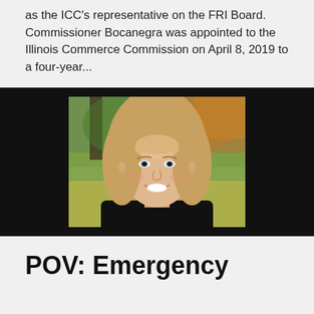as the ICC's representative on the FRI Board. Commissioner Bocanegra was appointed to the Illinois Commerce Commission on April 8, 2019 to a four-year...
[Figure (photo): Professional headshot of a smiling woman with long straight blonde hair, wearing a black blazer, photographed outdoors with blurred green and brown foliage background.]
POV: Emergency